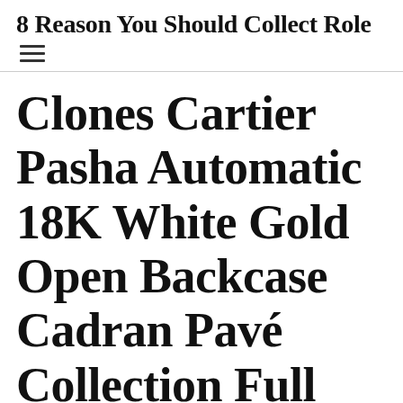8 Reason You Should Collect Role
Clones Cartier Pasha Automatic 18K White Gold Open Backcase Cadran Pavé Collection Full Set NOSCartier Pasha Automatic 2379 38mm Stainless Steel London Silver WITH